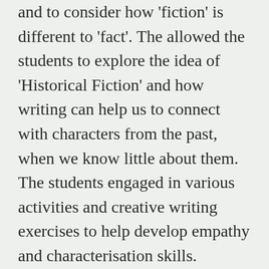and to consider how 'fiction' is different to 'fact'. The allowed the students to explore the idea of 'Historical Fiction' and how writing can help us to connect with characters from the past, when we know little about them. The students engaged in various activities and creative writing exercises to help develop empathy and characterisation skills.
The students were able to examine copies of materials from the archive and were particularly